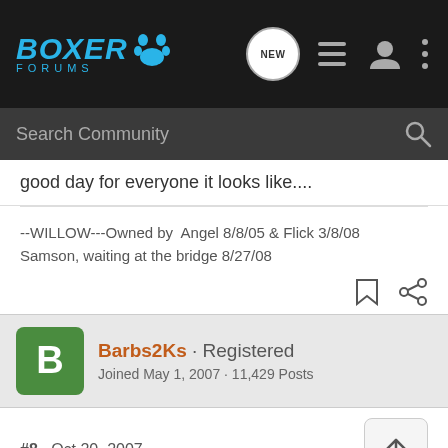BOXER FORUMS [logo with paw icon] — navigation icons: NEW bubble, list, user, more
Search Community
good day for everyone it looks like....
--WILLOW---Owned by  Angel 8/8/05 & Flick 3/8/08
Samson, waiting at the bridge 8/27/08
Barbs2Ks · Registered
Joined May 1, 2007 · 11,429 Posts
#8 · Oct 20, 2007
Great pictures, there is nothing like fresh air and play for our babies.